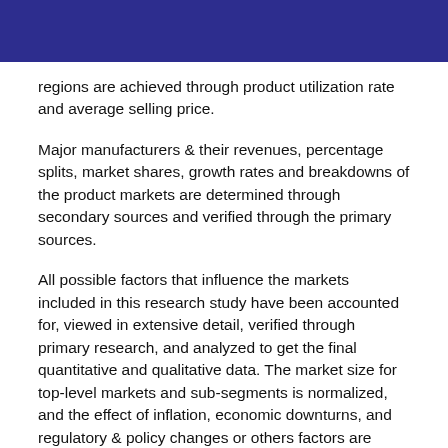regions are achieved through product utilization rate and average selling price.
Major manufacturers & their revenues, percentage splits, market shares, growth rates and breakdowns of the product markets are determined through secondary sources and verified through the primary sources.
All possible factors that influence the markets included in this research study have been accounted for, viewed in extensive detail, verified through primary research, and analyzed to get the final quantitative and qualitative data. The market size for top-level markets and sub-segments is normalized, and the effect of inflation, economic downturns, and regulatory & policy changes or others factors are accounted for in the market forecast. This data is combined and added with detailed inputs and analysis from Vision Research Reports and presented in